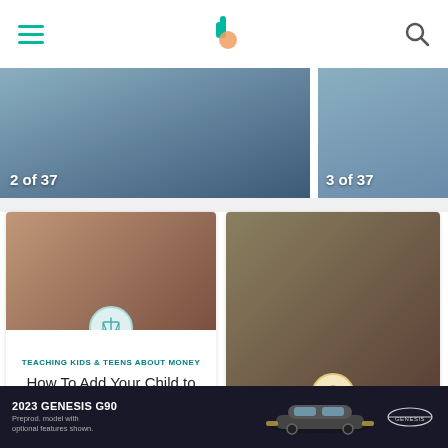Navigation header with hamburger menu, logo, and search icon
[Figure (photo): Carousel card showing '2 of 37' — dark blueish photo of car interior/driving scene]
[Figure (photo): Carousel card showing '3 of 37' — dark blueish photo of car interior/driving scene]
[Figure (photo): Article card image: young people smiling in a car — Teaching Kids & Teens About Money]
TEACHING KIDS & TEENS ABOUT MONEY
How To Add Your Child to Your Car Insurance
[Figure (photo): Article card image: older couple smiling in a convertible car — Car Insurance for Seniors]
CAR INSURANCE
Best Car Insurance for Seniors for 2022
[Figure (photo): Advertisement banner: 2023 Genesis G90 car with Genesis logo. Text: '2023 GENESIS G90 Preprod. model with optional features shown.']